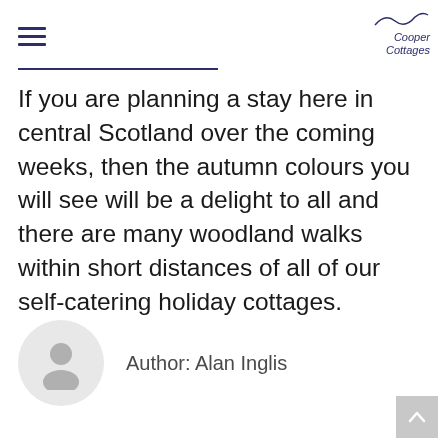Cooper Cottages
If you are planning a stay here in central Scotland over the coming weeks, then the autumn colours you will see will be a delight to all and there are many woodland walks within short distances of all of our self-catering holiday cottages.
Author: Alan Inglis